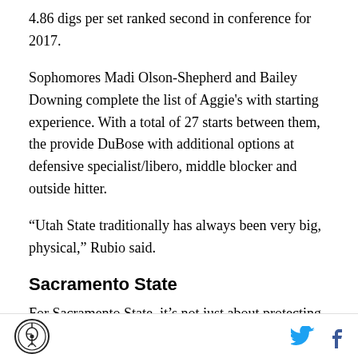4.86 digs per set ranked second in conference for 2017.
Sophomores Madi Olson-Shepherd and Bailey Downing complete the list of Aggie's with starting experience. With a total of 27 starts between them, the provide DuBose with additional options at defensive specialist/libero, middle blocker and outside hitter.
“Utah State traditionally has always been very big, physical,” Rubio said.
Sacramento State
For Sacramento State, it’s not just about protecting its home court. The Hornets are trying to follow up on a
[logo] [twitter] [facebook]